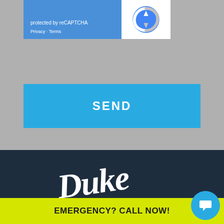[Figure (screenshot): reCAPTCHA widget with blue left panel showing 'protected by reCAPTCHA' text and Privacy/Terms links, white right panel with reCAPTCHA logo]
protected by reCAPTCHA
Privacy · Terms
SEND
[Figure (logo): Duke script logo in white cursive/italic text on dark navy background]
EMERGENCY? CALL NOW!